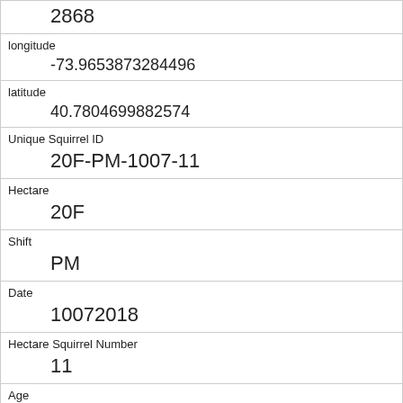| 2868 |
| longitude | -73.9653873284496 |
| latitude | 40.7804699882574 |
| Unique Squirrel ID | 20F-PM-1007-11 |
| Hectare | 20F |
| Shift | PM |
| Date | 10072018 |
| Hectare Squirrel Number | 11 |
| Age | Adult |
| Primary Fur Color | Gray |
| Highlight Fur Color |  |